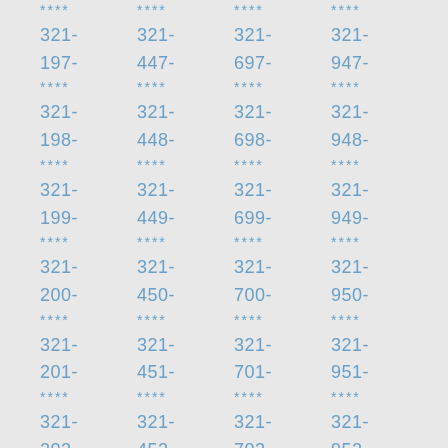Column of phone number fragments: ****, 321-, 197-, ****, 321-, 198-, ****, 321-, 199-, ****, 321-, 200-, ****, 321-, 201-, ****, 321-, 202-
Column of phone number fragments: ****, 321-, 447-, ****, 321-, 448-, ****, 321-, 449-, ****, 321-, 450-, ****, 321-, 451-, ****, 321-, 452-
Column of phone number fragments: ****, 321-, 697-, ****, 321-, 698-, ****, 321-, 699-, ****, 321-, 700-, ****, 321-, 701-, ****, 321-, 702-
Column of phone number fragments: ****, 321-, 947-, ****, 321-, 948-, ****, 321-, 949-, ****, 321-, 950-, ****, 321-, 951-, ****, 321-, 952-